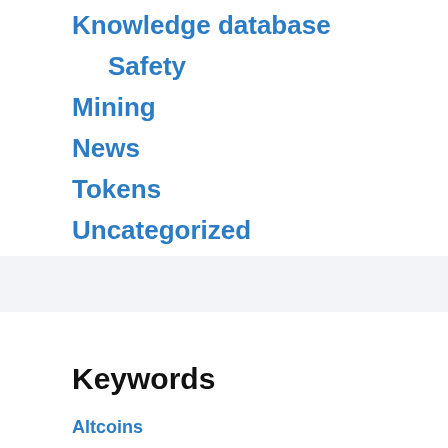Knowledge database
Safety
Mining
News
Tokens
Uncategorized
Keywords
Altcoins Applications Benefits Binance Bitcoin Blockchain Blockchain BTC Buy Bitcoin Buy cryptocurrency Crime